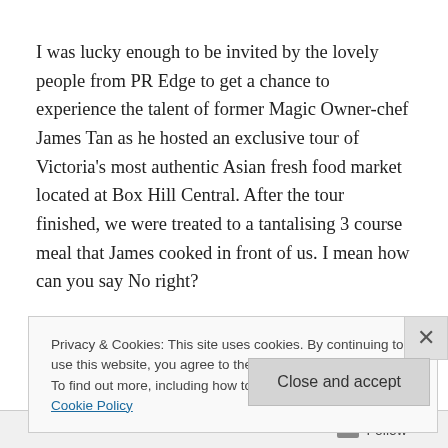I was lucky enough to be invited by the lovely people from PR Edge to get a chance to experience the talent of former Magic Owner-chef James Tan as he hosted an exclusive tour of Victoria's most authentic Asian fresh food market located at Box Hill Central. After the tour finished, we were treated to a tantalising 3 course meal that James cooked in front of us. I mean how can you say No right?
Box Hill Central is located in Box Hill and is full of culinary hidden gems, rare ingredients and traditional treats – and
Privacy & Cookies: This site uses cookies. By continuing to use this website, you agree to their use.
To find out more, including how to control cookies, see here: Cookie Policy
Close and accept
Follow ···